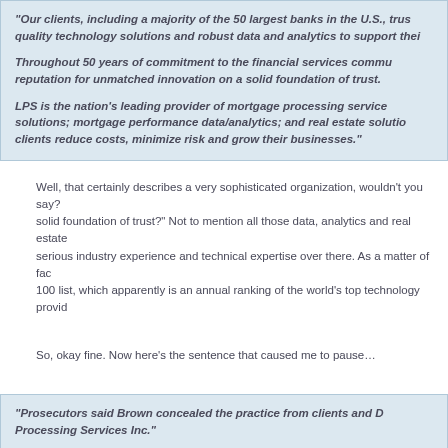"Our clients, including a majority of the 50 largest banks in the U.S., trust quality technology solutions and robust data and analytics to support their... Throughout 50 years of commitment to the financial services community, reputation for unmatched innovation on a solid foundation of trust. LPS is the nation's leading provider of mortgage processing services; solutions; mortgage performance data/analytics; and real estate solutions; clients reduce costs, minimize risk and grow their businesses."
Well, that certainly describes a very sophisticated organization, wouldn't you say? solid foundation of trust?" Not to mention all those data, analytics and real estate serious industry experience and technical expertise over there. As a matter of fact, 100 list, which apparently is an annual ranking of the world's top technology providers.
So, okay fine. Now here's the sentence that caused me to pause…
"Prosecutors said Brown concealed the practice from clients and D... Processing Services Inc."